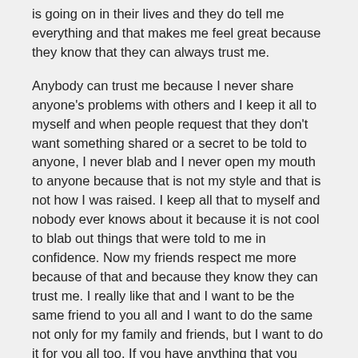is going on in their lives and they do tell me everything and that makes me feel great because they know that they can always trust me.
Anybody can trust me because I never share anyone's problems with others and I keep it all to myself and when people request that they don't want something shared or a secret to be told to anyone, I never blab and I never open my mouth to anyone because that is not my style and that is not how I was raised. I keep all that to myself and nobody ever knows about it because it is not cool to blab out things that were told to me in confidence. Now my friends respect me more because of that and because they know they can trust me. I really like that and I want to be the same friend to you all and I want to do the same not only for my family and friends, but I want to do it for you all too. If you have anything that you need to talk about, never hesitate. I want to make positive and happy changes in this world.
This world is in dire need of a make-over and I want to be one of the people to make a difference and I want to help the community around me and eventually all over the world. I know I keep bringing up that I want to get on television shows and